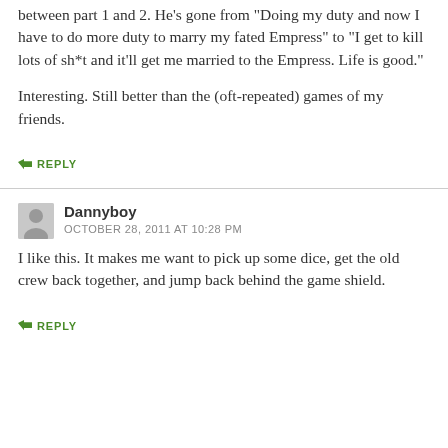between part 1 and 2. He's gone from "Doing my duty and now I have to do more duty to marry my fated Empress" to "I get to kill lots of sh*t and it'll get me married to the Empress. Life is good."
Interesting. Still better than the (oft-repeated) games of my friends.
↳ REPLY
Dannyboy
OCTOBER 28, 2011 AT 10:28 PM
I like this. It makes me want to pick up some dice, get the old crew back together, and jump back behind the game shield.
↳ REPLY